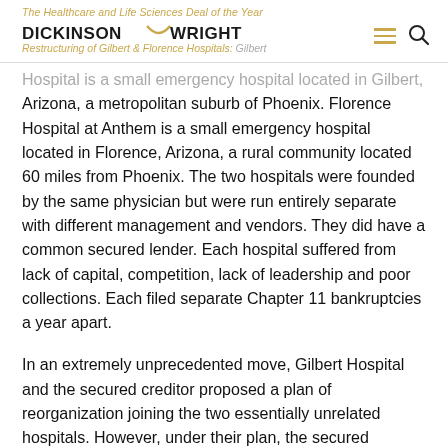The Healthcare and Life Sciences Deal of the Year | Dickinson Wright | Restructuring of Gilbert & Florence Hospitals: Gilbert Hospital is a small emergency hospital located in Gilbert,
Hospital is a small emergency hospital located in Gilbert, Arizona, a metropolitan suburb of Phoenix. Florence Hospital at Anthem is a small emergency hospital located in Florence, Arizona, a rural community located 60 miles from Phoenix. The two hospitals were founded by the same physician but were run entirely separate with different management and vendors. They did have a common secured lender. Each hospital suffered from lack of capital, competition, lack of leadership and poor collections. Each filed separate Chapter 11 bankruptcies a year apart.
In an extremely unprecedented move, Gilbert Hospital and the secured creditor proposed a plan of reorganization joining the two essentially unrelated hospitals. However, under their plan, the secured creditor would receive additional collateral and the hospitals' full obligations